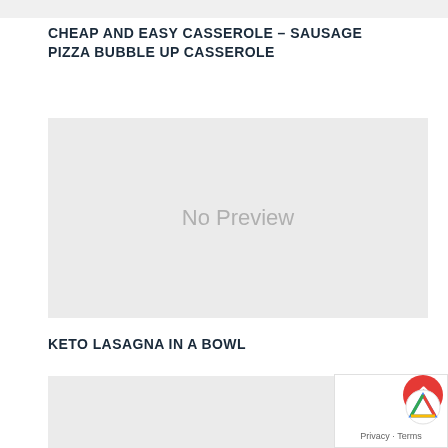CHEAP AND EASY CASSEROLE – SAUSAGE PIZZA BUBBLE UP CASSEROLE
[Figure (photo): No Preview placeholder image for Cheap and Easy Casserole – Sausage Pizza Bubble Up Casserole]
KETO LASAGNA IN A BOWL
[Figure (photo): No Preview placeholder image for Keto Lasagna in a Bowl (partial, cut off at bottom)]